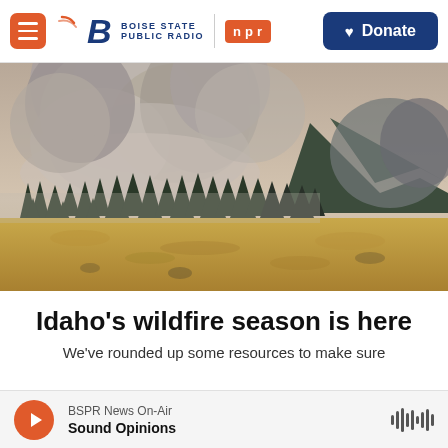Boise State Public Radio | NPR | Donate
[Figure (photo): Wildfire scene with massive smoke columns rising above a forested mountain range, with a dry golden meadow in the foreground]
Idaho's wildfire season is here
We've rounded up some resources to make sure
BSPR News On-Air | Sound Opinions